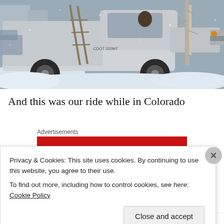[Figure (photo): A white pickup truck (CDOT) driving on a snowy road with ladders in the truck bed and bare aspen trees to the right. Snow is piled on the sides of the road. Another vehicle is visible in the background to the left.]
And this was our ride while in Colorado
Advertisements
[Figure (other): Red advertisement banner with white bold text reading 'An app by']
Privacy & Cookies: This site uses cookies. By continuing to use this website, you agree to their use.
To find out more, including how to control cookies, see here: Cookie Policy
Close and accept